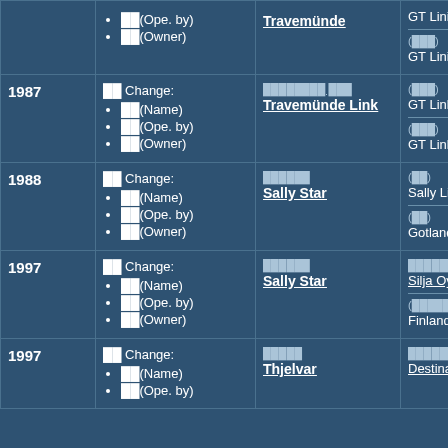| Year | Change | Ship Name | Info |
| --- | --- | --- | --- |
| (cont.) | ██(Ope. by)
██(Owner) | Travemünde | GT Linie
——
(███)
GT Linie |
| 1987 | ██ Change:
██(Name)
██(Ope. by)
██(Owner) | ████████ ███
Travemünde Link | (███)
GT Link
——
(███)
GT Link |
| 1988 | ██ Change:
██(Name)
██(Ope. by)
██(Owner) | ██████
Sally Star | (██)
Sally Lin
——
(██)
Gotland |
| 1997 | ██ Change:
██(Name)
██(Ope. by)
██(Owner) | ██████
Sally Star | ██████ (███
Silja Oy_
——
(██████)
Finland L |
| 1997 | ██ Change:
██(Name)
██(Ope. by) | █████
Thjelvar | ██████████
Destinat |